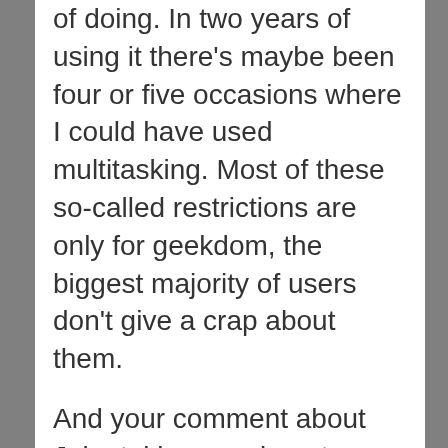of doing. In two years of using it there's maybe been four or five occasions where I could have used multitasking. Most of these so-called restrictions are only for geekdom, the biggest majority of users don't give a crap about them.
And your comment about Jobs taking a swipe at Android with his porn remark suggests you believe it's OK for Google to make all the snipes they like at the iPhone (see the comments about Flash and openness) but it's not OK for Jobs to do the same? One-eyed?
The reality is Google like